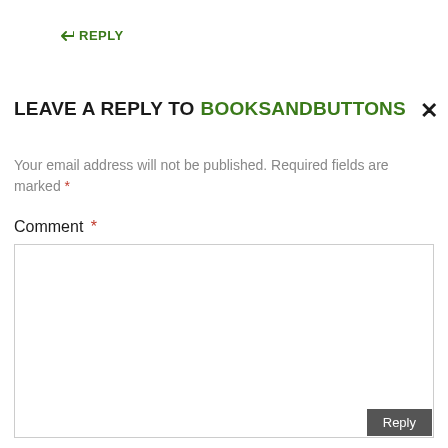↪ REPLY
LEAVE A REPLY TO BOOKSANDBUTTONS
Your email address will not be published. Required fields are marked *
Comment *
[Figure (other): Empty comment text area input box]